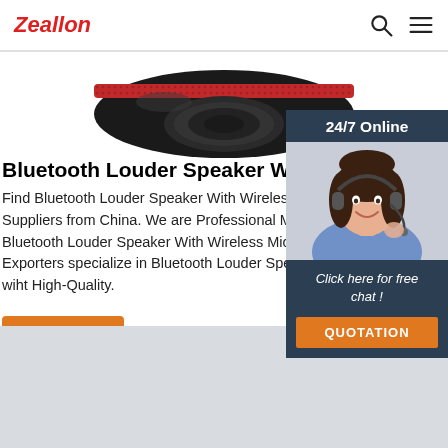Zeallon
[Figure (photo): Partial view of a Bluetooth louder speaker product, black and red, photographed from above against white background]
Bluetooth Louder Speaker With Wireless Mic
Find Bluetooth Louder Speaker With Wireless Mic & Suppliers from China. We are Professional Manufacturers Bluetooth Louder Speaker With Wireless Mic company & Exporters specialize in Bluetooth Louder Speaker With Wireless Mic wiht High-Quality.
[Figure (photo): Customer service representative woman smiling, wearing headset, 24/7 Online chat widget with QUOTATION button]
Get Price
Click here for free chat !
QUOTATION